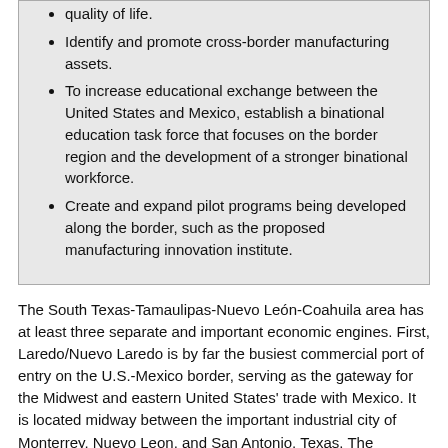quality of life.
Identify and promote cross-border manufacturing assets.
To increase educational exchange between the United States and Mexico, establish a binational education task force that focuses on the border region and the development of a stronger binational workforce.
Create and expand pilot programs being developed along the border, such as the proposed manufacturing innovation institute.
The South Texas-Tamaulipas-Nuevo León-Coahuila area has at least three separate and important economic engines. First, Laredo/Nuevo Laredo is by far the busiest commercial port of entry on the U.S.-Mexico border, serving as the gateway for the Midwest and eastern United States' trade with Mexico. It is located midway between the important industrial city of Monterrey, Nuevo Leon, and San Antonio, Texas. The massive flow of manufactured goods and parts through the region offers significant opportunities for